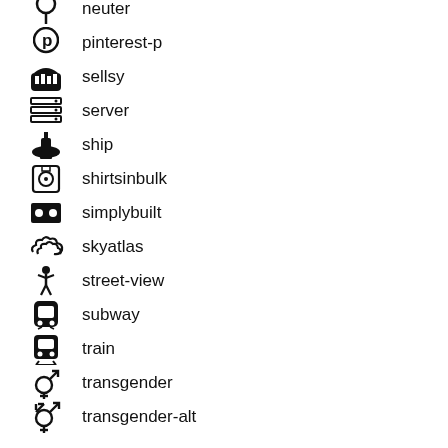neuter
pinterest-p
sellsy
server
ship
shirtsinbulk
simplybuilt
skyatlas
street-view
subway
train
transgender
transgender-alt